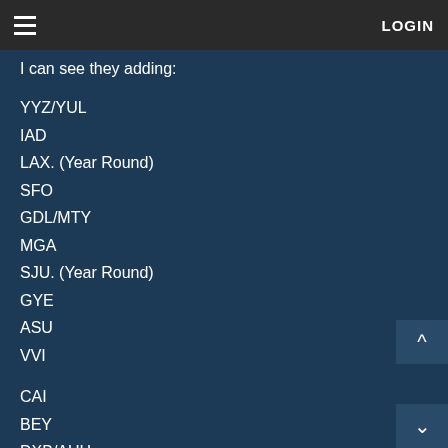≡   LOGIN
I can see they adding:
YYZ/YUL
IAD
LAX. (Year Round)
SFO
GDL/MTY
MGA
SJU. (Year Round)
GYE
ASU
VVI
CAI
BEY
DXB/AUH
IKA
DEL
BOM
BKK
SIN